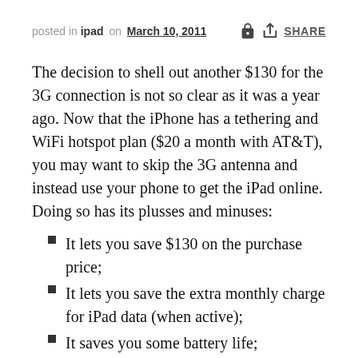posted in ipad on March 10, 2011  SHARE
The decision to shell out another $130 for the 3G connection is not so clear as it was a year ago. Now that the iPhone has a tethering and WiFi hotspot plan ($20 a month with AT&T), you may want to skip the 3G antenna and instead use your phone to get the iPad online. Doing so has its plusses and minuses:
It lets you save $130 on the purchase price;
It lets you save the extra monthly charge for iPad data (when active);
It saves you some battery life;
The GPS antenna is only on the 3G iPad so you'll be without it on a WiFi-only iPad;